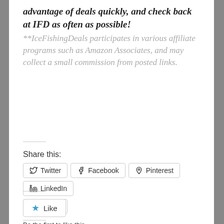advantage of deals quickly, and check back at IFD as often as possible!
**IceFishingDeals participates in various affiliate programs such as Amazon Associates, and may collect a small commission from posted links.
Share this:
Twitter  Facebook  Pinterest  LinkedIn  Tumblr
Like
Be the first to like this.